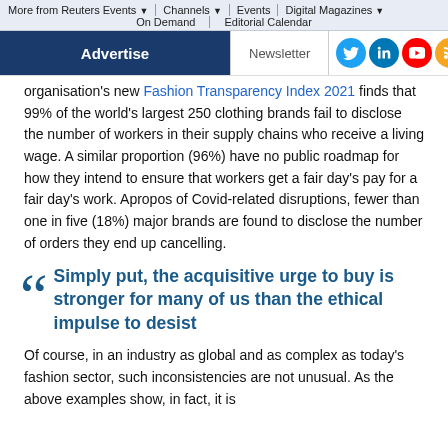More from Reuters Events ▾ | Channels ▾ | Events | Digital Magazines ▾ | On Demand | Editorial Calendar
Advertise | Newsletter
organisation's new Fashion Transparency Index 2021 finds that 99% of the world's largest 250 clothing brands fail to disclose the number of workers in their supply chains who receive a living wage. A similar proportion (96%) have no public roadmap for how they intend to ensure that workers get a fair day's pay for a fair day's work. Apropos of Covid-related disruptions, fewer than one in five (18%) major brands are found to disclose the number of orders they end up cancelling.
Simply put, the acquisitive urge to buy is stronger for many of us than the ethical impulse to desist
Of course, in an industry as global and as complex as today's fashion sector, such inconsistencies are not unusual. As the above examples show, in fact, it is